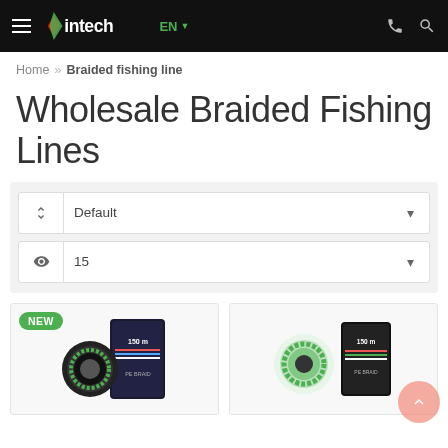Intech — EN — (phone) (search)
Home » Braided fishing line
Wholesale Braided Fishing Lines
Sort: Default | Show: 15
[Figure (photo): Product image: braided fishing line spool (new), 150m package]
[Figure (photo): Product images: two braided fishing line spools on the right side]